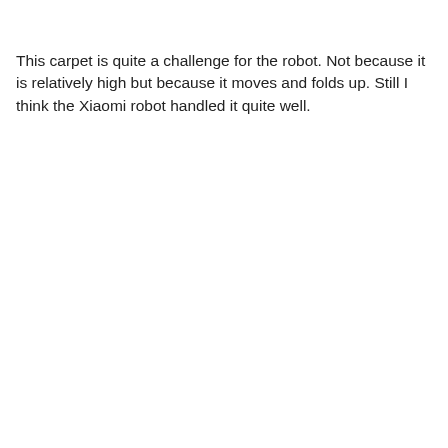This carpet is quite a challenge for the robot. Not because it is relatively high but because it moves and folds up. Still I think the Xiaomi robot handled it quite well.